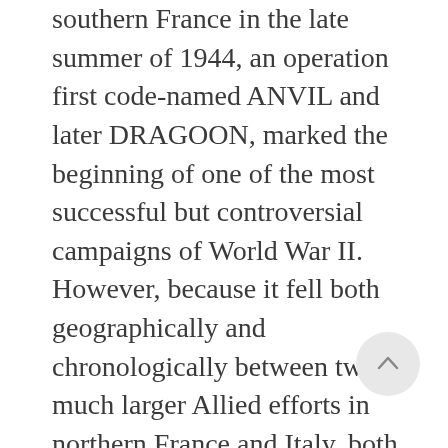southern France in the late summer of 1944, an operation first code-named ANVIL and later DRAGOON, marked the beginning of one of the most successful but controversial campaigns of World War II. However, because it fell both geographically and chronologically between two much larger Allied efforts in northern France and Italy, both its conduct and its contributions have been largely ignored. Planned originally as a simultaneous complement to OVERLORD, the cross-Channel attack on Normandy, ANVIL actually